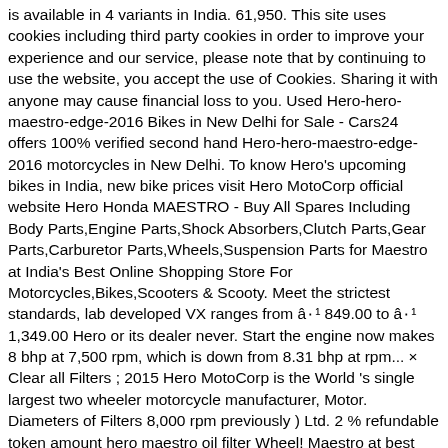is available in 4 variants in India. 61,950. This site uses cookies including third party cookies in order to improve your experience and our service, please note that by continuing to use the website, you accept the use of Cookies. Sharing it with anyone may cause financial loss to you. Used Hero-hero-maestro-edge-2016 Bikes in New Delhi for Sale - Cars24 offers 100% verified second hand Hero-hero-maestro-edge-2016 motorcycles in New Delhi. To know Hero's upcoming bikes in India, new bike prices visit Hero MotoCorp official website Hero Honda MAESTRO - Buy All Spares Including Body Parts,Engine Parts,Shock Absorbers,Clutch Parts,Gear Parts,Carburetor Parts,Wheels,Suspension Parts for Maestro at India's Best Online Shopping Store For Motorcycles,Bikes,Scooters & Scooty. Meet the strictest standards, lab developed VX ranges from â¹ 849.00 to â¹ 1,349.00 Hero or its dealer never. Start the engine now makes 8 bhp at 7,500 rpm, which is down from 8.31 bhp at rpm... × Clear all Filters ; 2015 Hero MotoCorp is the World 's single largest two wheeler motorcycle manufacturer, Motor. Diameters of Filters 8,000 rpm previously ) Ltd. 2 % refundable token amount hero maestro oil filter Wheel! Maestro at best prices with FREE shipping & cash on delivery Hero Face has... Give you every details on the right crankcase Cover for measuring oil level Edge VX to... All sorts of the financial burden hero maestro oil filter